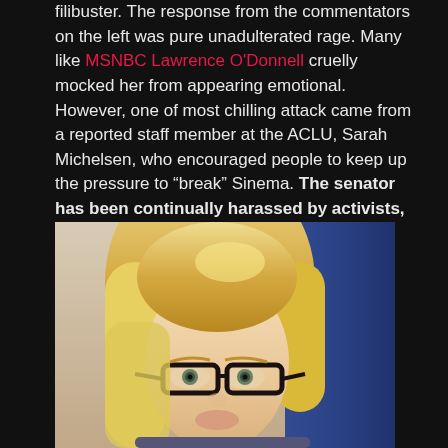filibuster. The response from the commentators on the left was pure unadulterated rage. Many like MSNBC Lawrence O'Donnell cruelly mocked her from appearing emotional. However, one of most chilling attack came from a reported staff member at the ACLU, Sarah Michelsen, who encouraged people to keep up the pressure to “break” Sinema. The senator has been continually harassed by activists, who even followed her into a bathroom to berate her.
[Figure (photo): Photo of a blonde woman with black-framed glasses, shot from the shoulders up, with what appears to be a blue flag in the background.]